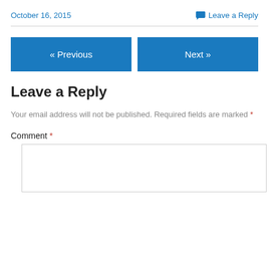October 16, 2015   Leave a Reply
Your email address will not be published. Required fields are marked *
Leave a Reply
Comment *